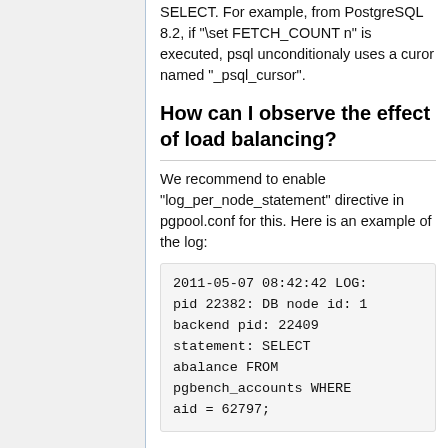SELECT. For example, from PostgreSQL 8.2, if "\set FETCH_COUNT n" is executed, psql unconditionaly uses a curor named "_psql_cursor".
How can I observe the effect of load balancing?
We recommend to enable "log_per_node_statement" directive in pgpool.conf for this. Here is an example of the log:
2011-05-07 08:42:42 LOG: pid 22382: DB node id: 1 backend pid: 22409 statement: SELECT abalance FROM pgbench_accounts WHERE aid = 62797;